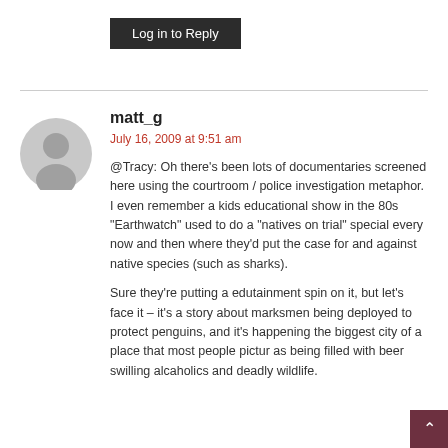Log in to Reply
matt_g
July 16, 2009 at 9:51 am
@Tracy: Oh there’s been lots of documentaries screened here using the courtroom / police investigation metaphor. I even remember a kids educational show in the 80s “Earthwatch” used to do a “natives on trial” special every now and then where they’d put the case for and against native species (such as sharks).
Sure they’re putting a edutainment spin on it, but let’s face it – it’s a story about marksmen being deployed to protect penguins, and it’s happening the biggest city of a place that most people pictur as being filled with beer swilling alcaholics and deadly wildlife.